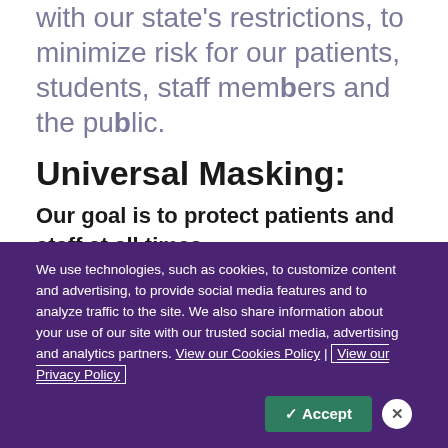with our state's restrictions, to minimize risk for our patients, students, staff members and the public.
Universal Masking:
Our goal is to protect patients and staff at all times.
We use technologies, such as cookies, to customize content and advertising, to provide social media features and to analyze traffic to the site. We also share information about your use of our site with our trusted social media, advertising and analytics partners. View our Cookies Policy | View our Privacy Policy